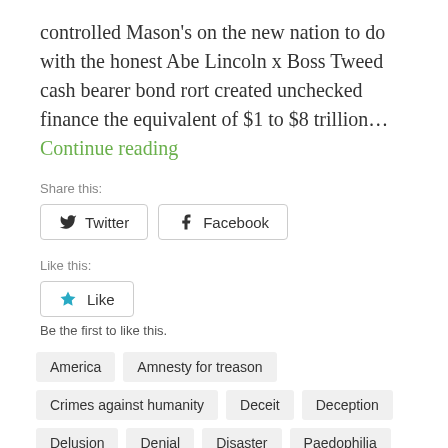controlled Mason's on the new nation to do with the honest Abe Lincoln x Boss Tweed cash bearer bond rort created unchecked finance the equivalent of $1 to $8 trillion... Continue reading
Share this:
Twitter
Facebook
Like this:
Like
Be the first to like this.
America
Amnesty for treason
Crimes against humanity
Deceit
Deception
Delusion
Denial
Disaster
Paedophilia
Treason
Truth